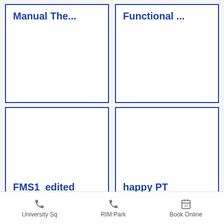[Figure (screenshot): Card grid showing app/website image gallery items. Top row (partially cropped): 'Manual The...' and 'Functional ...' cards with blue borders. Middle row: 'FMS1_edited' and 'happy PT' cards with placeholder text 'Describe your image'. Bottom row (partially cropped): 'shockwave2' and 'Add a Title' cards with 'Describe your image'. Footer navigation bar with 'University Sq', 'RIM Park', and 'Book Online' options.]
Manual The...
Functional ...
FMS1_edited
Describe your image
happy PT
Describe your image
shockwave2
Describe your image
Add a Title
Describe your image
University Sq   RIM Park   Book Online